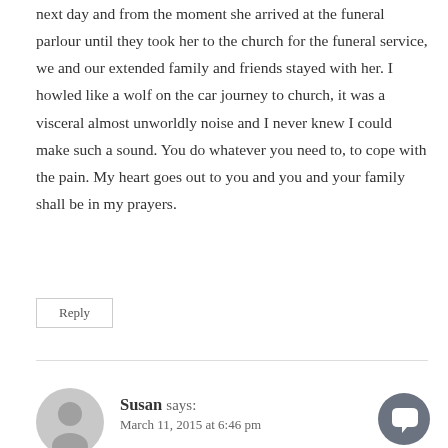next day and from the moment she arrived at the funeral parlour until they took her to the church for the funeral service, we and our extended family and friends stayed with her. I howled like a wolf on the car journey to church, it was a visceral almost unworldly noise and I never knew I could make such a sound. You do whatever you need to, to cope with the pain. My heart goes out to you and you and your family shall be in my prayers.
Reply
Susan says:
March 11, 2015 at 6:46 pm